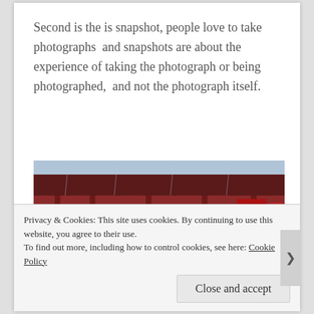Second is the is snapshot, people love to take photographs  and snapshots are about the experience of taking the photograph or being photographed,  and not the photograph itself.
[Figure (photo): A rainy day street scene in Japan, showing crowds of people with transparent umbrellas in front of a red traditional Japanese temple/shrine building with lanterns. The image has a painterly, stylized look with vivid red architectural elements.]
Privacy & Cookies: This site uses cookies. By continuing to use this website, you agree to their use.
To find out more, including how to control cookies, see here: Cookie Policy
Close and accept